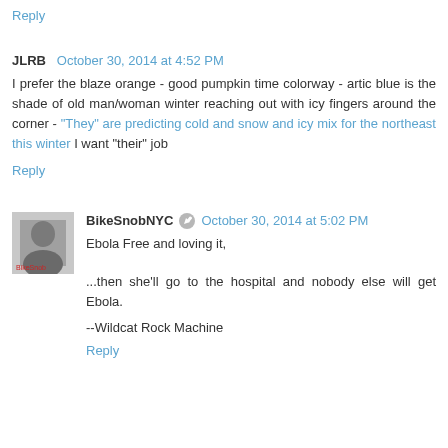Reply
JLRB  October 30, 2014 at 4:52 PM
I prefer the blaze orange - good pumpkin time colorway - artic blue is the shade of old man/woman winter reaching out with icy fingers around the corner - "They" are predicting cold and snow and icy mix for the northeast this winter I want "their" job
Reply
BikeSnobNYC  October 30, 2014 at 5:02 PM
Ebola Free and loving it,
...then she'll go to the hospital and nobody else will get Ebola.
--Wildcat Rock Machine
Reply